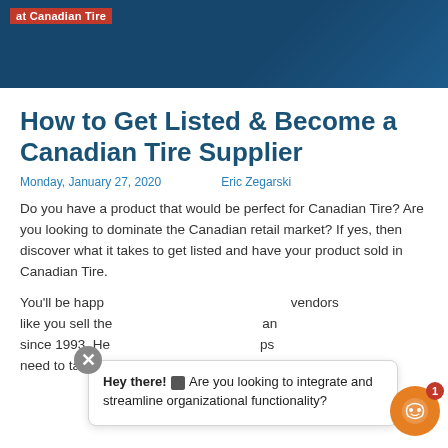[Figure (photo): Dark blue banner image with 'at Canadian Tire' text in red badge, showing tire/automotive context]
How to Get Listed & Become a Canadian Tire Supplier
Monday, January 27, 2020   Eric Zegarski
Do you have a product that would be perfect for Canadian Tire? Are you looking to dominate the Canadian retail market? If yes, then discover what it takes to get listed and have your product sold in Canadian Tire.
You'll be happy... vendors like you sell the... an since 1993. He... ps need to take to get listed.
Hey there! Are you looking to integrate and streamline organizational functionality?